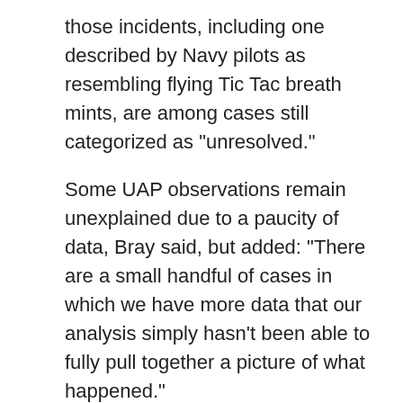those incidents, including one described by Navy pilots as resembling flying Tic Tac breath mints, are among cases still categorized as "unresolved."
Some UAP observations remain unexplained due to a paucity of data, Bray said, but added: "There are a small handful of cases in which we have more data that our analysis simply hasn't been able to fully pull together a picture of what happened."
While analysts must consider the possibility that an advanced aircraft might use "signature management" technology to conceal its flight capabilities, "we're not aware of any adversary that is capable of flying an aircraft without any